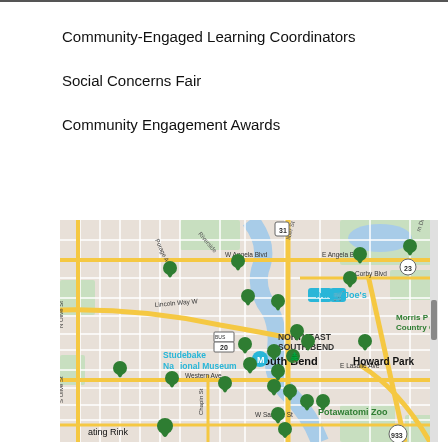Community-Engaged Learning Coordinators
Social Concerns Fair
Community Engagement Awards
[Figure (map): Google Maps view of South Bend, Indiana area showing multiple green location pins around Notre Dame and South Bend. Notable labels include Trader Joe's, Northeast South Bend, Studebaker National Museum, Howard Park, Potawatomi Zoo, Morris Country Club, Lincoln Way W, Western Ave, W Angela Blvd, E Angela Blvd, E Lasalle Ave, W Sample St, route markers 31, 23, 20, 933.]